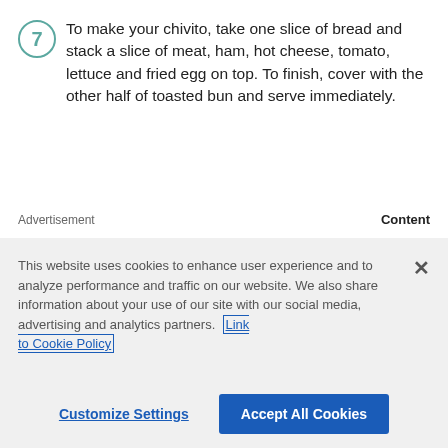7  To make your chivito, take one slice of bread and stack a slice of meat, ham, hot cheese, tomato, lettuce and fried egg on top. To finish, cover with the other half of toasted bun and serve immediately.
Advertisement    Content
[Figure (other): Advertisement banner with red italic text reading: Prepare to say, "you're welcome." on a grey/beige background with an X close button.]
This website uses cookies to enhance user experience and to analyze performance and traffic on our website. We also share information about your use of our site with our social media, advertising and analytics partners. Link to Cookie Policy
Customize Settings    Accept All Cookies